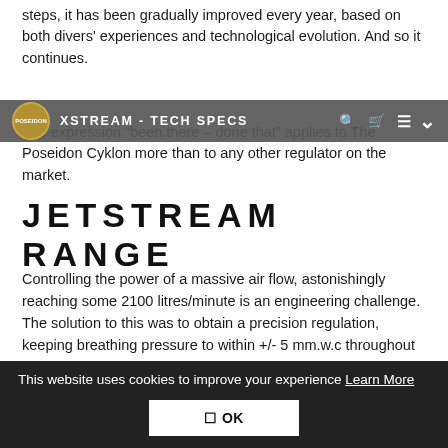steps, it has been gradually improved every year, based on both divers' experiences and technological evolution. And so it continues.
XSTREAM - TECH SPECS
The expression "been there – done that" applies to The Poseidon Cyklon more than to any other regulator on the market.
JETSTREAM RANGE
Controlling the power of a massive air flow, astonishingly reaching some 2100 litres/minute is an engineering challenge. The solution to this was to obtain a precision regulation, keeping breathing pressure to within +/- 5 mm.w.c throughout the inhalation cycle, regardless of depth and demand. Called a servo-assisted valve, it works in the same way as does the power steering you may have
This website uses cookies to improve your experience Learn More
✓ OK